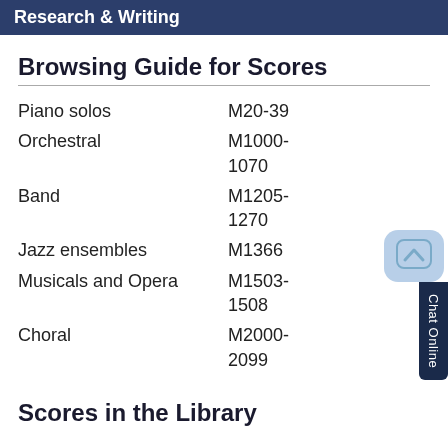Research & Writing
Browsing Guide for Scores
| Category | Call Number |
| --- | --- |
| Piano solos | M20-39 |
| Orchestral | M1000-1070 |
| Band | M1205-1270 |
| Jazz ensembles | M1366 |
| Musicals and Opera | M1503-1508 |
| Choral | M2000-2099 |
Scores in the Library